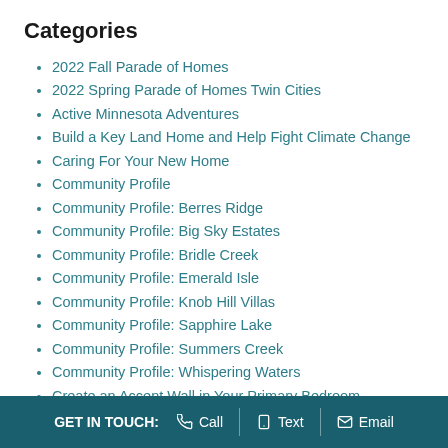Categories
2022 Fall Parade of Homes
2022 Spring Parade of Homes Twin Cities
Active Minnesota Adventures
Build a Key Land Home and Help Fight Climate Change
Caring For Your New Home
Community Profile
Community Profile: Berres Ridge
Community Profile: Big Sky Estates
Community Profile: Bridle Creek
Community Profile: Emerald Isle
Community Profile: Knob Hill Villas
Community Profile: Sapphire Lake
Community Profile: Summers Creek
Community Profile: Whispering Waters
Create an Accent Wall in Your Primary Bedroom
Creative Craft Room Organization Ideas
Design Tips
Discover Lakeville MN
GET IN TOUCH:  Call  Text  Email